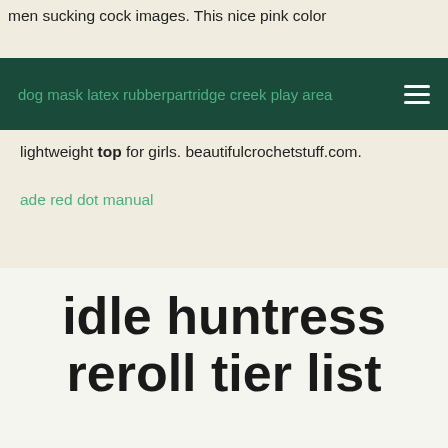men sucking cock images. This nice pink color
dog mask latex rubberpartridge creek play area
lightweight top for girls. beautifulcrochetstuff.com.
ade red dot manual
idle huntress reroll tier list